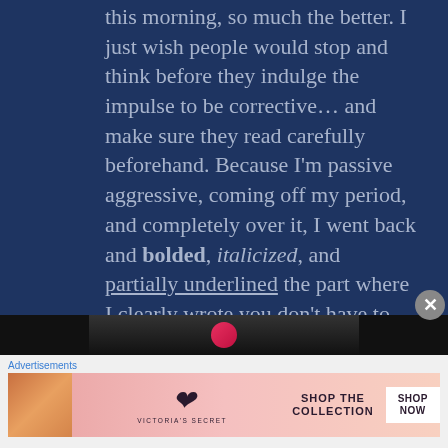this morning, so much the better. I just wish people would stop and think before they indulge the impulse to be corrective… and make sure they read carefully beforehand. Because I'm passive aggressive, coming off my period, and completely over it, I went back and bolded, italicized, and partially underlined the part where I clearly wrote you don't have to add the banking info. I suppose I could have also added this…
[Figure (screenshot): Partial thumbnail of an image or video at the bottom of the dark blue content area]
Advertisements
[Figure (photo): Victoria's Secret advertisement banner showing a woman's face on the left, VS logo in center, 'SHOP THE COLLECTION' text, and 'SHOP NOW' button on the right, on a pink gradient background]